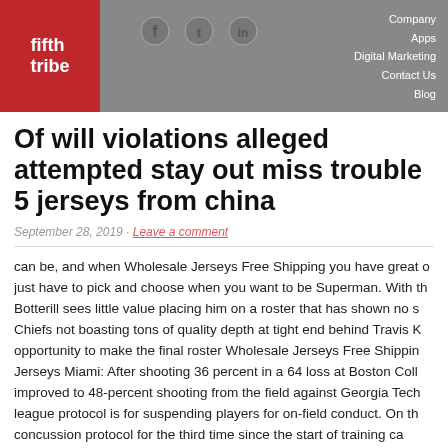fifth tribe | Company Apps Digital Marketing Contact Us Blog
Of will violations alleged attempted stay out miss trouble 5 jerseys from china
September 28, 2019 · Leave a comment
can be, and when Wholesale Jerseys Free Shipping you have great o... just have to pick and choose when you want to be Superman. With th... Botterill sees little value placing him on a roster that has shown no s... Chiefs not boasting tons of quality depth at tight end behind Travis K... opportunity to make the final roster Wholesale Jerseys Free Shippin... Jerseys Miami: After shooting 36 percent in a 64 loss at Boston Coll... improved to 48-percent shooting from the field against Georgia Tech... league protocol is for suspending players for on-field conduct. On th... concussion protocol for the third time since the start of training ca...